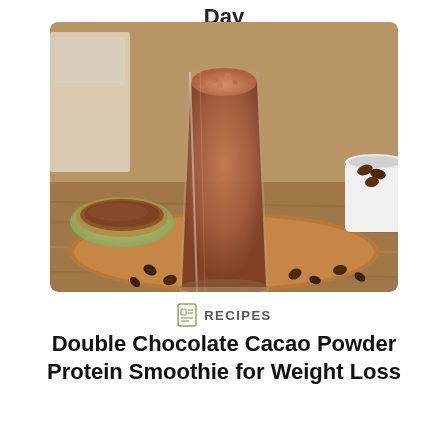Day
[Figure (photo): A tall glass filled with a frothy chocolate smoothie sitting on a wooden board. A small bowl with cacao powder is to the left, a cup of coffee beans to the right, and coffee beans scattered on the board.]
RECIPES
Double Chocolate Cacao Powder Protein Smoothie for Weight Loss